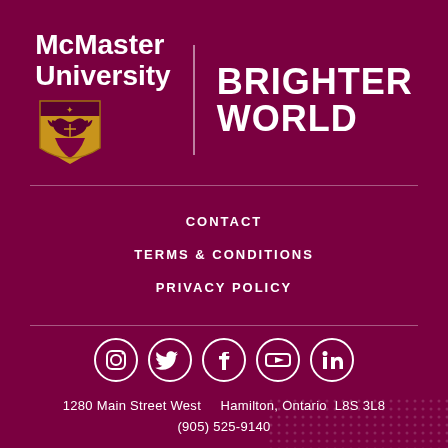[Figure (logo): McMaster University logo with shield crest and 'BRIGHTER WORLD' tagline on dark maroon background]
CONTACT
TERMS & CONDITIONS
PRIVACY POLICY
[Figure (infographic): Social media icons: Instagram, Twitter, Facebook, YouTube, LinkedIn — white circles on maroon background]
1280 Main Street West    Hamilton, Ontario  L8S 3L8
(905) 525-9140